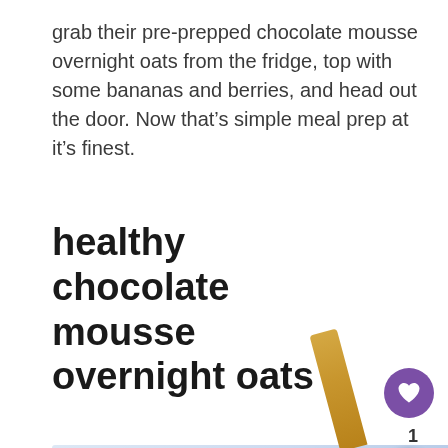grab their pre-prepped chocolate mousse overnight oats from the fridge, top with some bananas and berries, and head out the door. Now that's simple meal prep at it's finest.
healthy chocolate mousse overnight oats
[Figure (screenshot): UI overlay with heart/like button (purple circle with heart icon), count '1', share button (white circle with share icon), and a 'What's Next' card showing '20-Minute Beginner Le...' with a thumbnail]
[Figure (photo): Bottom portion of a food photo with light blue/lavender background and a gold spoon or utensil visible at the bottom right]